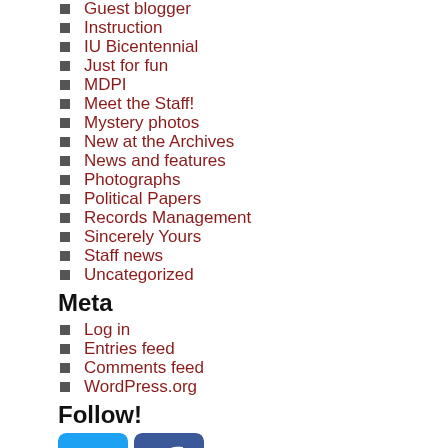Guest blogger
Instruction
IU Bicentennial
Just for fun
MDPI
Meet the Staff!
Mystery photos
New at the Archives
News and features
Photographs
Political Papers
Records Management
Sincerely Yours
Staff news
Uncategorized
Meta
Log in
Entries feed
Comments feed
WordPress.org
Follow!
[Figure (other): Twitter and Facebook social media icons]